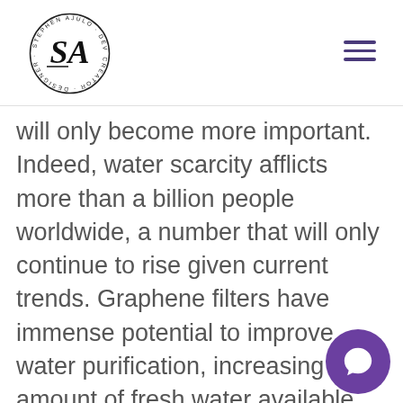Stephen Ajulo - Writer, Developer, Creator, Designer (logo)
will only become more important. Indeed, water scarcity afflicts more than a billion people worldwide, a number that will only continue to rise given current trends. Graphene filters have immense potential to improve water purification, increasing the amount of fresh water available. In fact, Lockheed Martin recently developed a graphene filter called “Perforene,” which company claims could revolutionize the